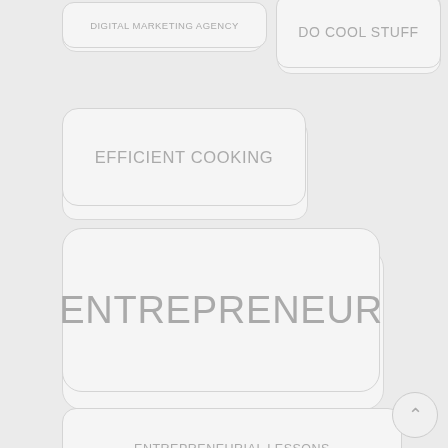DIGITAL MARKETING AGENCY
DO COOL STUFF
EFFICIENT COOKING
ENTREPRENEUR
ENTREPRENEURIAL LESSONS
ENTREPRENEURS
ENTREPRENEURSHIP
EXPERT
FAMILY
FITNESS